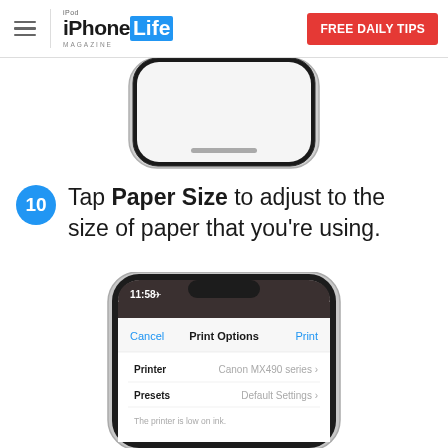iPhone Life Magazine — FREE DAILY TIPS
[Figure (photo): Partial bottom view of an iPhone X showing the home indicator bar, silver frame against white background]
10 Tap Paper Size to adjust to the size of paper that you're using.
[Figure (screenshot): iPhone X showing Print Options screen with Cancel and Print buttons, Printer set to Canon MX490 series, Presets set to Default Settings, and a note 'The printer is low on ink.']